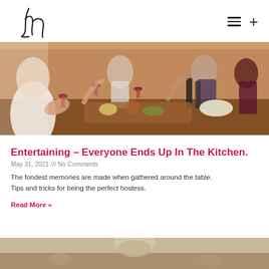Logo and navigation icons
[Figure (photo): Group of people gathered around a dining table, clinking wine glasses, with food and wine bottles on the table]
Entertaining – Everyone Ends Up In The Kitchen.
May 31, 2021 /// No Comments
The fondest memories are made when gathered around the table. Tips and tricks for being the perfect hostess.
Read More »
[Figure (photo): Bottom portion of another article image, partially visible]